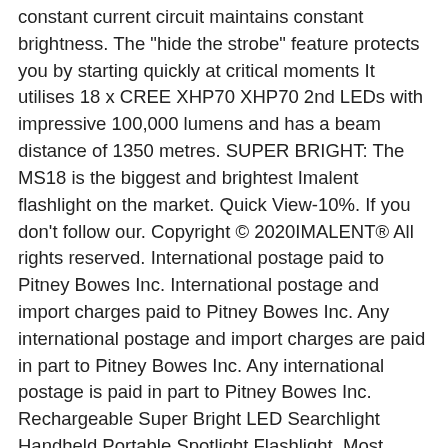constant current circuit maintains constant brightness. The "hide the strobe" feature protects you by starting quickly at critical moments It utilises 18 x CREE XHP70 XHP70 2nd LEDs with impressive 100,000 lumens and has a beam distance of 1350 metres. SUPER BRIGHT: The MS18 is the biggest and brightest Imalent flashlight on the market. Quick View-10%. If you don't follow our. Copyright © 2020IMALENT® All rights reserved. International postage paid to Pitney Bowes Inc. International postage and import charges paid to Pitney Bowes Inc. Any international postage and import charges are paid in part to Pitney Bowes Inc. Any international postage is paid in part to Pitney Bowes Inc. Rechargeable Super Bright LED Searchlight Handheld Portable Spotlight Flashlight, Most Powerful L2 XHP70 LED Searchlight Floodlight Flashlight Outdoor Lantern, Most Powerful XHP90 XHP120 XHP160 LED Flashlight Rechargeable Zoom Torch Lantern, Most Powerful 60000LM 18x XM-L T6 LED Flashlight Hunting Hiking Torch Spotlight, Super Bright XHP90 XHP100 XHP160 LED Flashlight Zoom Torch USB Rechargeable Lantern, Super XHP100 Most Powerful LED Flashlight USB...